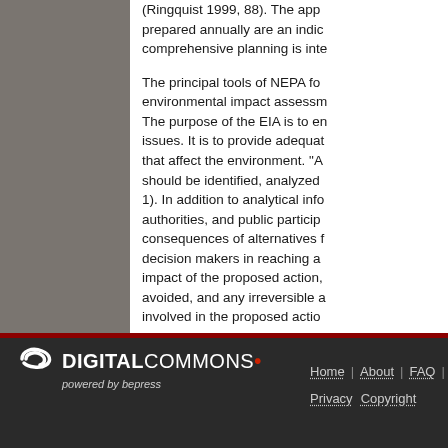(Ringquist 1999, 88). The apps prepared annually are an indic comprehensive planning is inte
The principal tools of NEPA for environmental impact assessm The purpose of the EIA is to en issues. It is to provide adequat that affect the environment. "A should be identified, analyzed 1). In addition to analytical info authorities, and public particip consequences of alternatives f decision makers in reaching a impact of the proposed action, avoided, and any irreversible a involved in the proposed actio
Digital Commons powered by bepress | Home | About | FAQ | M | Privacy | Copyright